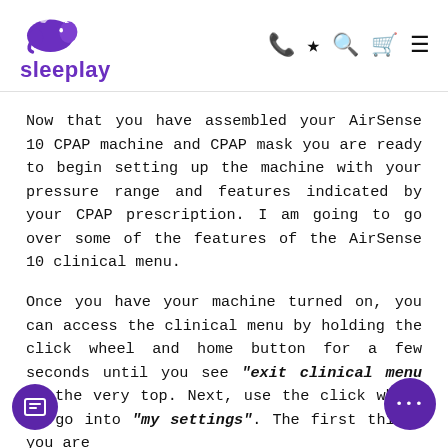sleeplay
Now that you have assembled your AirSense 10 CPAP machine and CPAP mask you are ready to begin setting up the machine with your pressure range and features indicated by your CPAP prescription. I am going to go over some of the features of the AirSense 10 clinical menu.
Once you have your machine turned on, you can access the clinical menu by holding the click wheel and home button for a few seconds until you see "exit clinical menu" at the very top. Next, use the click wheel to go into "my settings". The first things you are